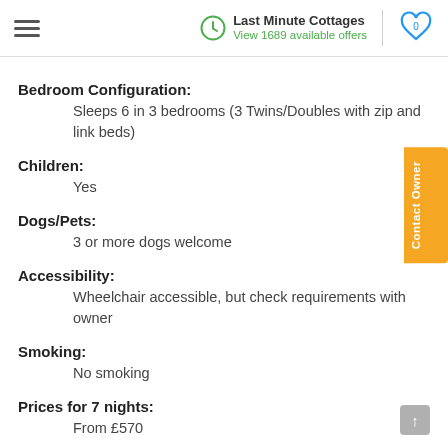Last Minute Cottages — View 1689 available offers
Bedroom Configuration:
Sleeps 6 in 3 bedrooms (3 Twins/Doubles with zip and link beds)
Children:
Yes
Dogs/Pets:
3 or more dogs welcome
Accessibility:
Wheelchair accessible, but check requirements with owner
Smoking:
No smoking
Prices for 7 nights:
From £570